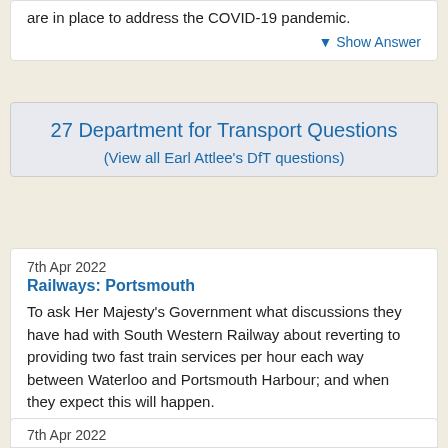are in place to address the COVID-19 pandemic.
▼ Show Answer
27 Department for Transport Questions
(View all Earl Attlee's DfT questions)
7th Apr 2022
Railways: Portsmouth
To ask Her Majesty's Government what discussions they have had with South Western Railway about reverting to providing two fast train services per hour each way between Waterloo and Portsmouth Harbour; and when they expect this will happen.
▼ Show Answer
7th Apr 2022